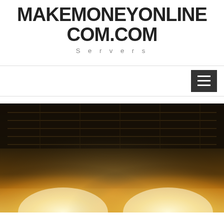MAKEMONEYONLINECOM.COM
Servers
[Figure (photo): A dark nighttime photograph of server racks or stadium/arena structure with bright glowing lights (warm yellow/white) emanating from below, creating a dramatic backlit effect.]